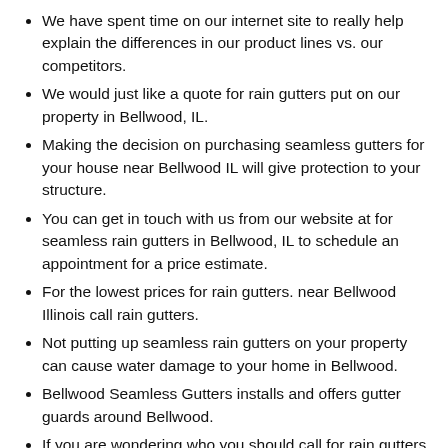We have spent time on our internet site to really help explain the differences in our product lines vs. our competitors.
We would just like a quote for rain gutters put on our property in Bellwood, IL.
Making the decision on purchasing seamless gutters for your house near Bellwood IL will give protection to your structure.
You can get in touch with us from our website at for seamless rain gutters in Bellwood, IL to schedule an appointment for a price estimate.
For the lowest prices for rain gutters. near Bellwood Illinois call rain gutters.
Not putting up seamless rain gutters on your property can cause water damage to your home in Bellwood.
Bellwood Seamless Gutters installs and offers gutter guards around Bellwood.
If you are wondering who you should call for rain gutters or copper gutters call Bellwood Seamless Gutters for a quote right now.
We phoned for a price price estimate for a seamless gutters cost in Bellwood, IL.
During the autumn while residing near Bellwood, IL do want to avoid cleaning out your seamless gutters Contact for leaf gutters andeferrals.